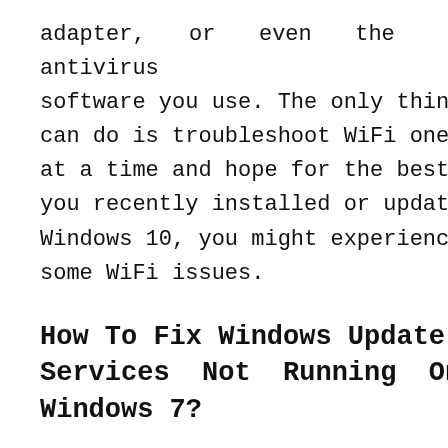adapter, or even the antivirus software you use. The only thing you can do is troubleshoot WiFi one step at a time and hope for the best. If you recently installed or updated Windows 10, you might experience some WiFi issues.
How To Fix Windows Update Services Not Running On Windows 7?
The fact is, we have been through